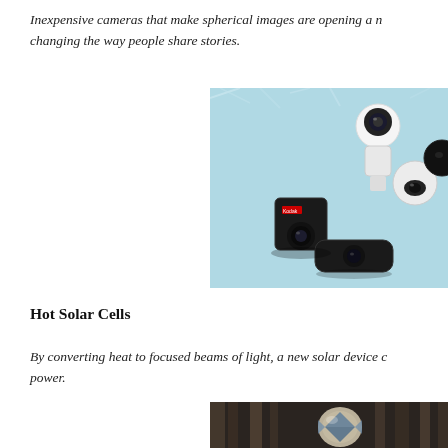Inexpensive cameras that make spherical images are opening a new world, changing the way people share stories.
[Figure (photo): Multiple 360-degree cameras of various shapes and sizes arranged on a light blue fluffy surface]
Hot Solar Cells
By converting heat to focused beams of light, a new solar device could generate power.
[Figure (photo): Close-up of a solar cell device with metallic components and glass element]